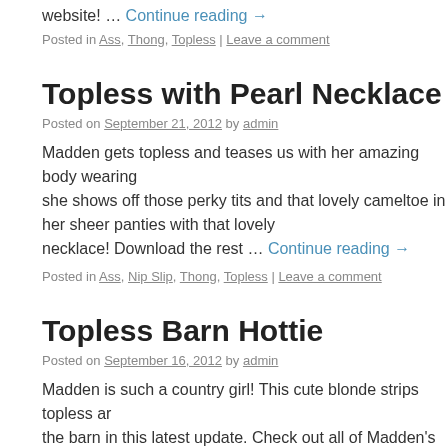website! … Continue reading →
Posted in Ass, Thong, Topless | Leave a comment
Topless with Pearl Necklace
Posted on September 21, 2012 by admin
Madden gets topless and teases us with her amazing body wearing only a pearl necklace! she shows off those perky tits and that lovely cameltoe in her sheer panties with that pearl necklace! Download the rest … Continue reading →
Posted in Ass, Nip Slip, Thong, Topless | Leave a comment
Topless Barn Hottie
Posted on September 16, 2012 by admin
Madden is such a country girl! This cute blonde strips topless and poses in the barn in this latest update. Check out all of Madden's high quality photos on her personal website! … Continue reading →